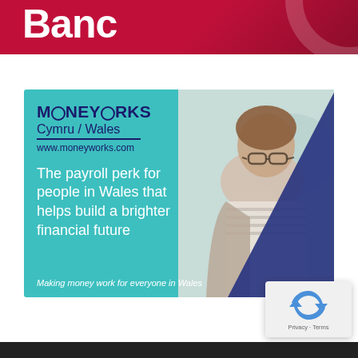Banc
[Figure (illustration): MoneyWorks Cymru/Wales advertisement banner on teal background. Shows MONEYWORKS logo, Cymru/Wales text, www.moneyworks.com website, tagline 'The payroll perk for people in Wales that helps build a brighter financial future', bottom text 'Making money work for everyone in Wales', with a dark blue triangle overlay and a smiling woman with glasses on the right side.]
[Figure (other): Google reCAPTCHA widget showing the recaptcha logo and Privacy/Terms links]